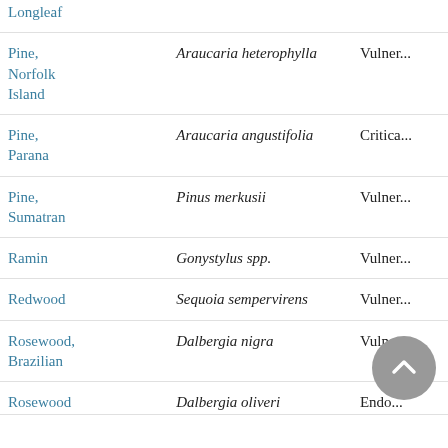| Common Name | Scientific Name | Status |
| --- | --- | --- |
| Pine, Longleaf |  |  |
| Pine, Norfolk Island | Araucaria heterophylla | Vulner... |
| Pine, Parana | Araucaria angustifolia | Critica... |
| Pine, Sumatran | Pinus merkusii | Vulner... |
| Ramin | Gonystylus spp. | Vulner... |
| Redwood | Sequoia sempervirens | Vulner... |
| Rosewood, Brazilian | Dalbergia nigra | Vulner... |
| Rosewood, ... | Dalbergia oliveri | Endo... |